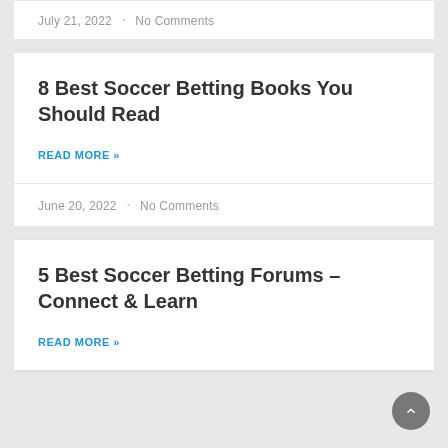July 21, 2022 · No Comments
8 Best Soccer Betting Books You Should Read
READ MORE »
June 20, 2022 · No Comments
5 Best Soccer Betting Forums – Connect & Learn
READ MORE »